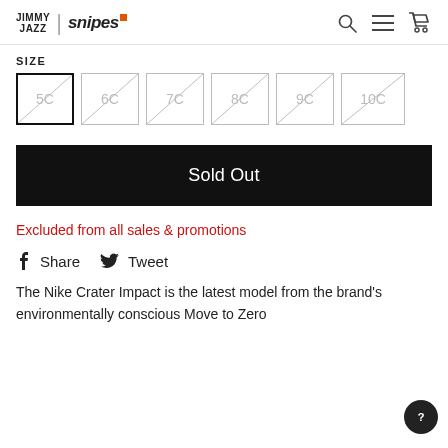JIMMY JAZZ | snipes
SIZE
5C  6C  7C  8C  9C  10C
Sold Out
Excluded from all sales & promotions
Share  Tweet
The Nike Crater Impact is the latest model from the brand's environmentally conscious Move to Zero